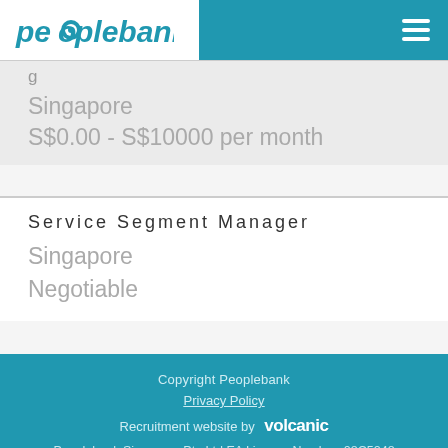peoplebank
Singapore
S$0.00 - S$10000 per month
Service Segment Manager
Singapore
Negotiable
Copyright Peoplebank
Privacy Policy
Recruitment website by volcanic
Peoplebank Singapore Pte Ltd EA Licence Number: 08C5248